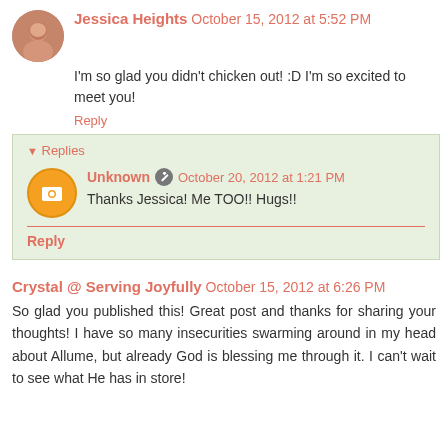Jessica Heights  October 15, 2012 at 5:52 PM
I'm so glad you didn't chicken out! :D I'm so excited to meet you!
Reply
▾ Replies
Unknown  October 20, 2012 at 1:21 PM
Thanks Jessica! Me TOO!! Hugs!!
Reply
Crystal @ Serving Joyfully  October 15, 2012 at 6:26 PM
So glad you published this! Great post and thanks for sharing your thoughts! I have so many insecurities swarming around in my head about Allume, but already God is blessing me through it. I can't wait to see what He has in store!